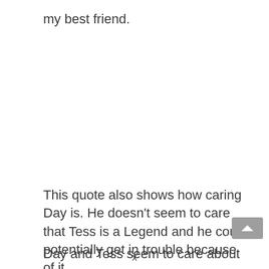my best friend.
This quote also shows how caring Day is. He doesn't seem to care that Tess is a Legend and he could potentially get in trouble because of it.
Day and Tess seem to care about Tess...